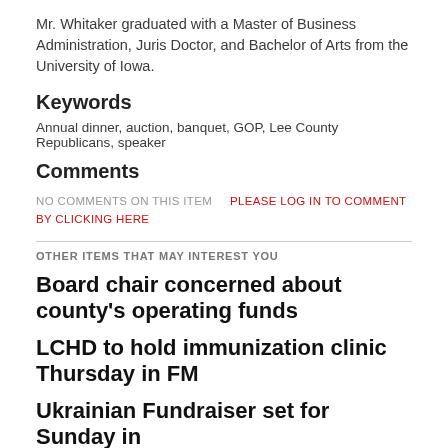Mr. Whitaker graduated with a Master of Business Administration, Juris Doctor, and Bachelor of Arts from the University of Iowa.
Keywords
Annual dinner, auction, banquet, GOP, Lee County Republicans, speaker
Comments
NO COMMENTS ON THIS ITEM   PLEASE LOG IN TO COMMENT BY CLICKING HERE
OTHER ITEMS THAT MAY INTEREST YOU
Board chair concerned about county's operating funds
LCHD to hold immunization clinic Thursday in FM
Ukrainian Fundraiser set for Sunday in